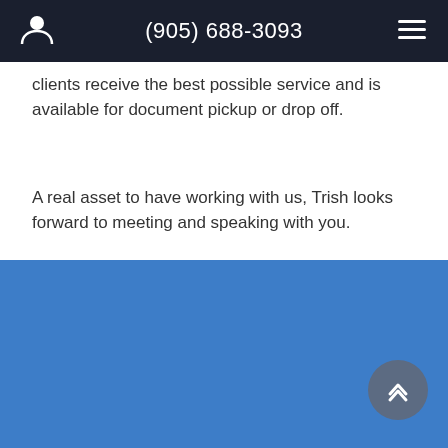(905) 688-3093
clients receive the best possible service and is available for document pickup or drop off.
A real asset to have working with us, Trish looks forward to meeting and speaking with you.